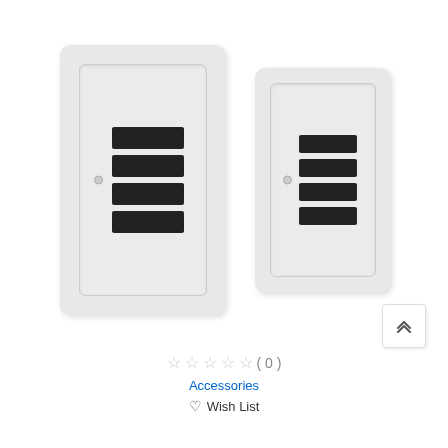[Figure (photo): Two white USB wall outlet chargers with 4 USB ports each, shown side by side. Left unit is larger/closer, right unit is slightly smaller/further. Both are rectangular white wall plates with a recessed module containing 4 black USB-A ports stacked vertically and a small LED indicator dot.]
[Figure (other): Small white button with double up-arrow chevron icon in the bottom right area]
☆☆☆☆☆ (0)
Accessories
♡ Wish List